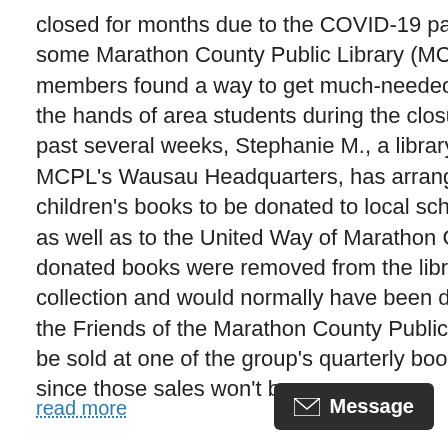closed for months due to the COVID-19 pandemic, but some Marathon County Public Library (MCPL) staff members found a way to get much-needed books into the hands of area students during the closure. Over the past several weeks, Stephanie M., a library assistant at MCPL's Wausau Headquarters, has arranged for children's books to be donated to local school districts, as well as to the United Way of Marathon County. The donated books were removed from the library's collection and would normally have been donated to the Friends of the Marathon County Public Library to be sold at one of the group's quarterly book sales. But since those sales won't be...
read more